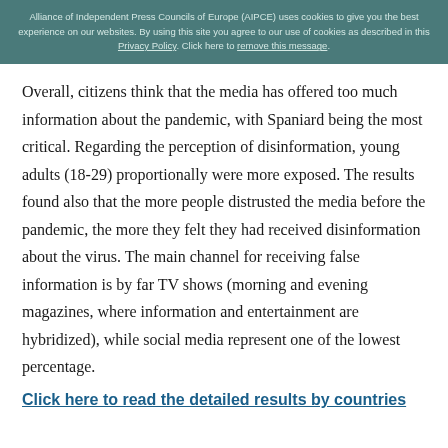Alliance of Independent Press Councils of Europe (AIPCE) uses cookies to give you the best experience on our websites. By using this site you agree to our use of cookies as described in this Privacy Policy. Click here to remove this message.
Overall, citizens think that the media has offered too much information about the pandemic, with Spaniard being the most critical. Regarding the perception of disinformation, young adults (18-29) proportionally were more exposed. The results found also that the more people distrusted the media before the pandemic, the more they felt they had received disinformation about the virus. The main channel for receiving false information is by far TV shows (morning and evening magazines, where information and entertainment are hybridized), while social media represent one of the lowest percentage.
Click here to read the detailed results by countries